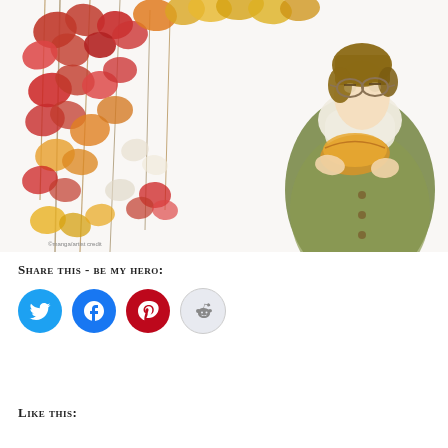[Figure (illustration): Anime-style illustration of a young person with glasses and short brown hair, wearing a green/olive coat and white scarf, holding bread loaves. Background features autumn foliage with red, orange, and yellow leaves on vines against a white background.]
Share this - be my hero:
[Figure (infographic): Four circular social media share buttons: Twitter (blue), Facebook (blue), Pinterest (dark red), Reddit (light gray/blue outline)]
Like this: